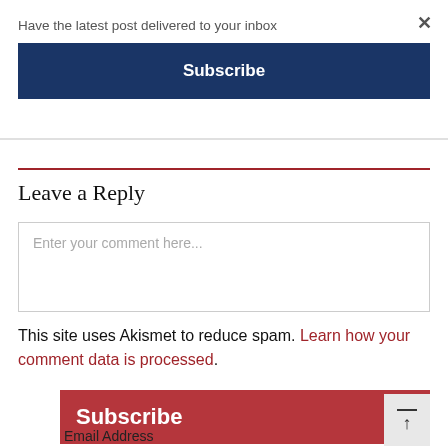Have the latest post delivered to your inbox
Subscribe
Leave a Reply
Enter your comment here...
This site uses Akismet to reduce spam. Learn how your comment data is processed.
Subscribe
Email Address